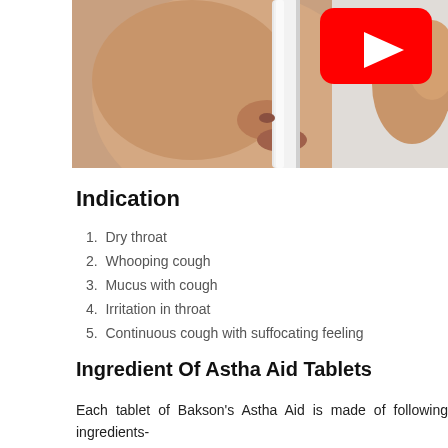[Figure (photo): Close-up photo of a person drinking from a white cup or container, with a YouTube play button overlay in the upper right corner.]
Indication
Dry throat
Whooping cough
Mucus with cough
Irritation in throat
Continuous cough with suffocating feeling
Ingredient Of Astha Aid Tablets
Each tablet of Bakson's Astha Aid is made of following ingredients-